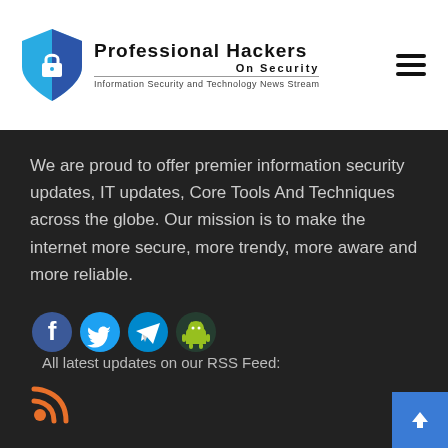[Figure (logo): Professional Hackers On Security logo with shield icon and tagline: Information Security and Technology News Stream]
We are proud to offer premier information security updates, IT updates, Core Tools And Techniques across the globe. Our mission is to make the internet more secure, more trendy, more aware and more reliable.
[Figure (infographic): Social media icons: Facebook (blue f), Twitter (blue bird), Telegram (blue paper plane), Android robot (green). Text: All latest updates on our RSS Feed:. Below: RSS feed icon (orange).]
POPULAR TOPICS
About Us